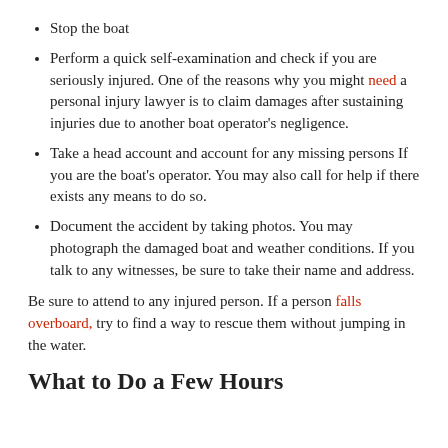Stop the boat
Perform a quick self-examination and check if you are seriously injured. One of the reasons why you might need a personal injury lawyer is to claim damages after sustaining injuries due to another boat operator's negligence.
Take a head account and account for any missing persons If you are the boat's operator. You may also call for help if there exists any means to do so.
Document the accident by taking photos. You may photograph the damaged boat and weather conditions. If you talk to any witnesses, be sure to take their name and address.
Be sure to attend to any injured person. If a person falls overboard, try to find a way to rescue them without jumping in the water.
What to Do a Few Hours